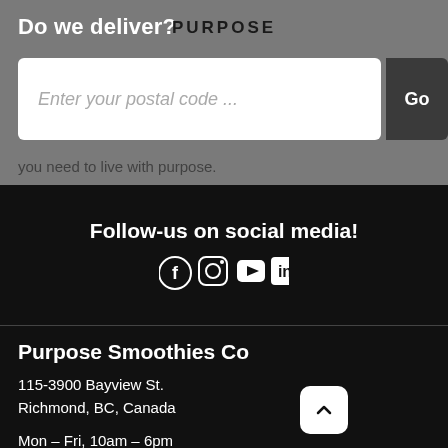Do we deliver?
PURPOSE
Enter your postal code ...
Go
you need to live with purpose.
Follow-us on social media!
[Figure (illustration): Social media icons: Facebook, Instagram, YouTube, LinkedIn]
Purpose Smoothies Co
115-3900 Bayview St.
Richmond, BC, Canada
Mon – Fri, 10am – 6pm
Sat – Sun, 10am – 4pm